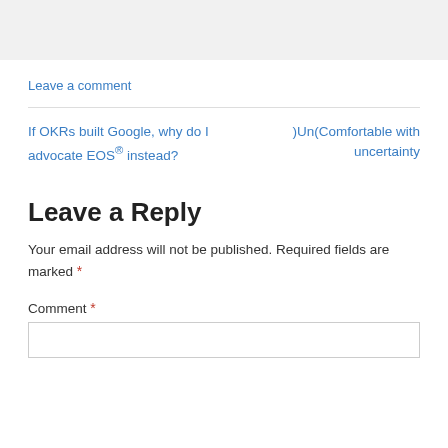[Figure (other): Gray background bar at top of page]
Leave a comment
If OKRs built Google, why do I advocate EOS® instead?
)Un(Comfortable with uncertainty
Leave a Reply
Your email address will not be published. Required fields are marked *
Comment *